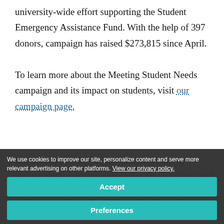university-wide effort supporting the Student Emergency Assistance Fund. With the help of 397 donors, campaign has raised $273,815 since April.
To learn more about the Meeting Student Needs campaign and its impact on students, visit our campaign page.
Samford is a leading Christian university offering undergraduate programs grounded in the liberal arts, and an array of nationally recognized graduate and professional schools. Founded in 1841, Samford…
We use cookies to improve our site, personalize content and serve more relevant advertising on other platforms. View our privacy policy.
Accept
Preferences